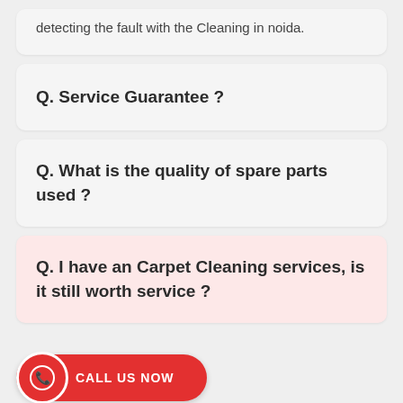detecting the fault with the Cleaning in noida.
Q. Service Guarantee ?
Q. What is the quality of spare parts used ?
Q. I have an Carpet Cleaning services, is it still worth service ?